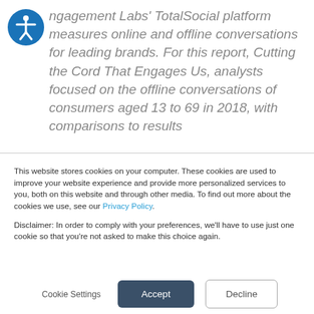Engagement Labs' TotalSocial platform measures online and offline conversations for leading brands. For this report, Cutting the Cord That Engages Us, analysts focused on the offline conversations of consumers aged 13 to 69 in 2018, with comparisons to results
This website stores cookies on your computer. These cookies are used to improve your website experience and provide more personalized services to you, both on this website and through other media. To find out more about the cookies we use, see our Privacy Policy.
Disclaimer: In order to comply with your preferences, we'll have to use just one cookie so that you're not asked to make this choice again.